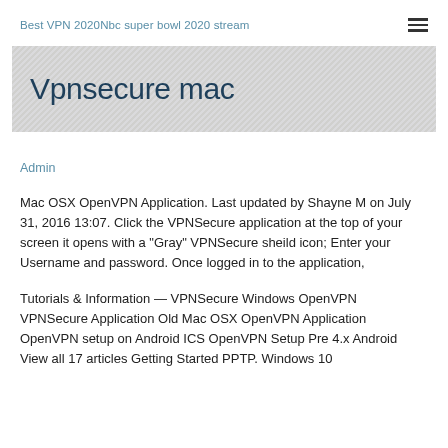Best VPN 2020Nbc super bowl 2020 stream
Vpnsecure mac
Admin
Mac OSX OpenVPN Application. Last updated by Shayne M on July 31, 2016 13:07. Click the VPNSecure application at the top of your screen it opens with a "Gray" VPNSecure sheild icon; Enter your Username and password. Once logged in to the application,
Tutorials & Information — VPNSecure Windows OpenVPN VPNSecure Application Old Mac OSX OpenVPN Application OpenVPN setup on Android ICS OpenVPN Setup Pre 4.x Android View all 17 articles Getting Started PPTP. Windows 10